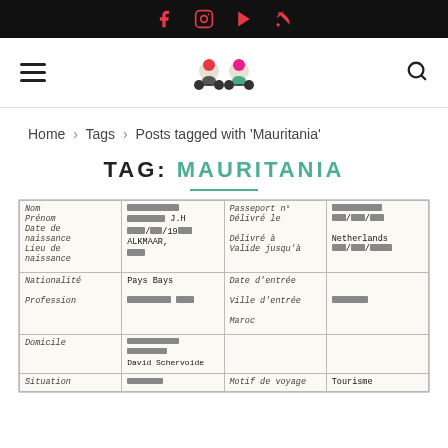Social media icons bar (Facebook, Instagram, YouTube, RSS)
[Figure (logo): Two cartoon motorcyclists logo in website navigation header with hamburger menu left and search icon right]
Home > Tags > Posts tagged with 'Mauritania'
TAG: MAURITANIA
[Figure (photo): Photograph of a handwritten form/document in French, showing fields: Nom, Prénom, Date de naissance, Lieu de naissance, Nationalité, Profession, Domicile, Situation — with some personal info redacted. Also shows: Passeport n°, Délivré le, Délivré à, Valide jusqu'à, Date d'entrée, Ville d'entrée, Maroc, Motif de voyage — Netherlands mentioned, some dates and values partially visible.]